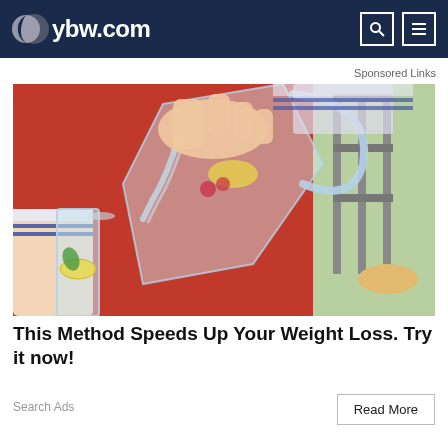ybw.com
Sponsored Links
[Figure (photo): Person in red sweater pouring water with lemon slices from a glass pitcher into a tall glass]
This Method Speeds Up Your Weight Loss. Try it now!
Search Ads
Read More